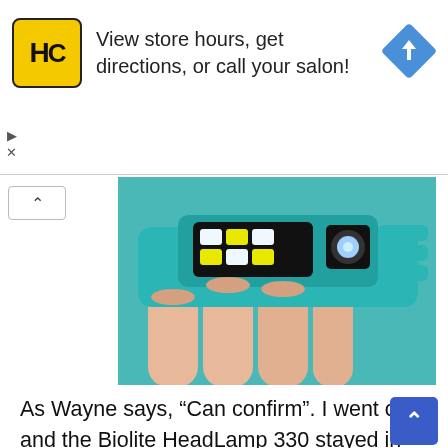[Figure (screenshot): Advertisement banner with HC logo (yellow square with black border and bold HC text), text 'View store hours, get directions, or call your salon!', and a blue diamond navigation icon on the right. Play and X controls on the left side below the banner.]
[Figure (photo): A hand holding a teal/turquoise BioLite HeadLamp 330, showing the LED light panel with multiple white LED chips and one larger spotlight lens, against a dark background.]
As Wayne says, “Can confirm”. I went out, and the Biolite HeadLamp 330 stayed in it’s spot on my head, and the angle it was set at (you can adjust it some, it’s just not locked flat) also stayed in place. The battery pack may